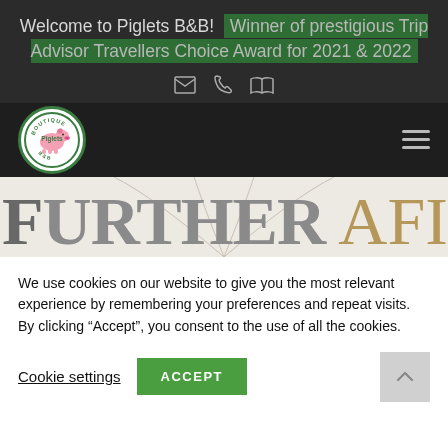Welcome to Piglets B&B! Winner of prestigious Trip Advisor Travellers Choice Award for 2021 & 2022
[Figure (logo): Piglets Boutique B&B circular green logo with pink pig illustration]
[Figure (illustration): Large decorative text: FURTHER AFIELD in grey and gold serif font]
We use cookies on our website to give you the most relevant experience by remembering your preferences and repeat visits. By clicking “Accept”, you consent to the use of all the cookies.
Cookie settings   ACCEPT